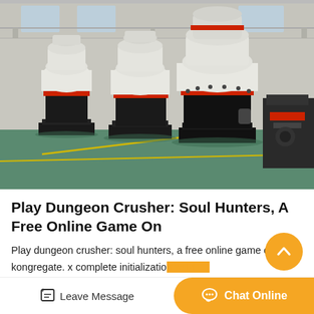[Figure (photo): Industrial factory floor showing multiple large cone crushers with white and red paint scheme, black bases, on a green floor with yellow markings. Machinery arranged in a row inside a large industrial warehouse.]
Play Dungeon Crusher: Soul Hunters, A Free Online Game On
Play dungeon crusher: soul hunters, a free online game on kongregate. x complete initialization...
Leave Message
Chat Online